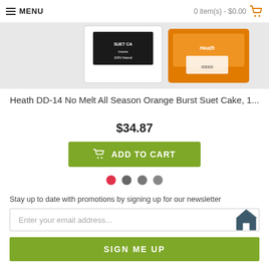MENU   0 item(s) - $0.00
[Figure (photo): Product photo of Heath DD-14 No Melt All Season Orange Burst Suet Cake, showing suet cake packaging with orange coloring and Heath brand label]
Heath DD-14 No Melt All Season Orange Burst Suet Cake, 1...
$34.87
ADD TO CART
Stay up to date with promotions by signing up for our newsletter
Enter your email address...
SIGN ME UP